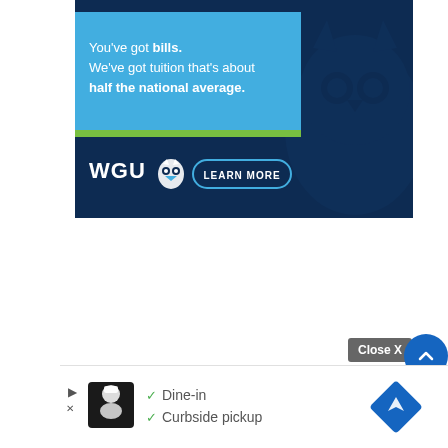[Figure (screenshot): WGU university advertisement banner on dark navy background. Light blue text box says 'You've got bills. We've got tuition that's about half the national average.' with WGU logo and 'LEARN MORE' button. Green accent bar below the text box. Large watermark owl visible on the right side.]
[Figure (screenshot): Bottom advertisement bar showing a restaurant ad with a chef logo icon, checkmarks for 'Dine-in' and 'Curbside pickup', and a blue map pin/navigation icon on the right.]